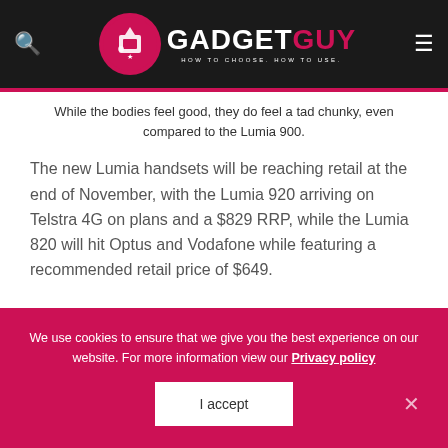GADGETGUY — HOW TO CHOOSE. HOW TO USE.
While the bodies feel good, they do feel a tad chunky, even compared to the Lumia 900.
The new Lumia handsets will be reaching retail at the end of November, with the Lumia 920 arriving on Telstra 4G on plans and a $829 RRP, while the Lumia 820 will hit Optus and Vodafone while featuring a recommended retail price of $649.
We use cookies to ensure that we give you the best experience on our website. For more information view our Privacy policy
I accept